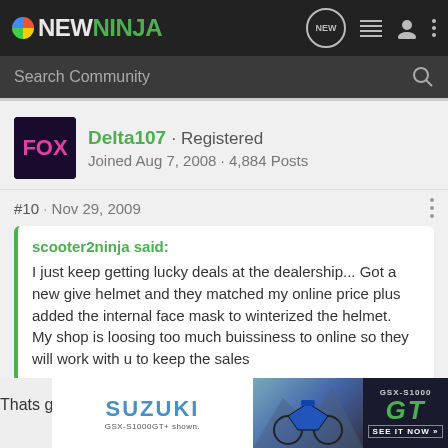NEWNINJA
Search Community
Delta107 · Registered
Joined Aug 7, 2008 · 4,884 Posts
#10 · Nov 29, 2009
scooter2ninja said:
I just keep getting lucky deals at the dealership... Got a new give helmet and they matched my online price plus added the internal face mask to winterized the helmet.
My shop is loosing too much buissiness to online so they will work with u to keep the sales
Thats g...
[Figure (photo): Suzuki GSX-S1000GT advertisement banner with motorcycle image]